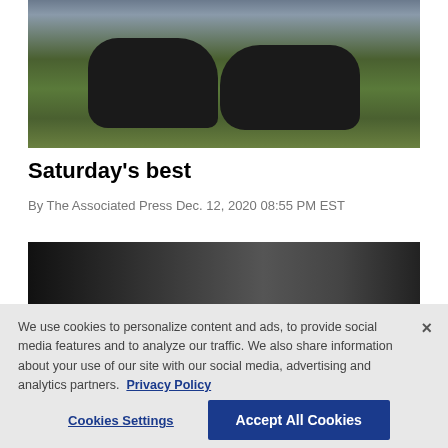[Figure (photo): Football players in dark uniforms on green field, two players on the ground crawling]
Saturday's best
By The Associated Press Dec. 12, 2020 08:55 PM EST
[Figure (photo): Partial dark photo, bottom portion cropped by cookie banner]
We use cookies to personalize content and ads, to provide social media features and to analyze our traffic. We also share information about your use of our site with our social media, advertising and analytics partners.  Privacy Policy
Cookies Settings
Accept All Cookies